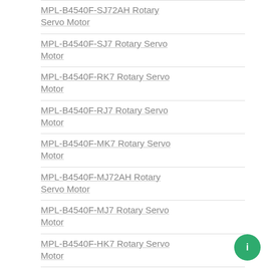MPL-B4540F-SJ72AH Rotary Servo Motor
MPL-B4540F-SJ7 Rotary Servo Motor
MPL-B4540F-RK7 Rotary Servo Motor
MPL-B4540F-RJ7 Rotary Servo Motor
MPL-B4540F-MK7 Rotary Servo Motor
MPL-B4540F-MJ72AH Rotary Servo Motor
MPL-B4540F-MJ7 Rotary Servo Motor
MPL-B4540F-HK7 Rotary Servo Motor
MPL-B4540F-HJ7 Rotary Servo Motor